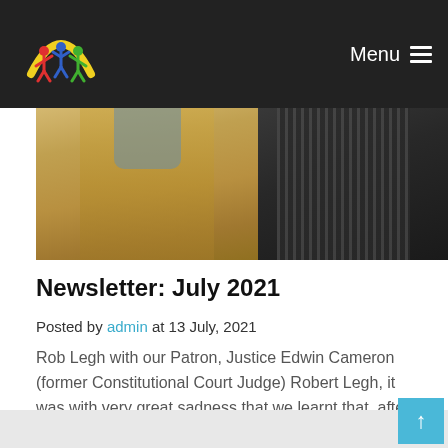Menu
[Figure (photo): Two men photographed from the chest up; left man wearing a tan sweater vest over blue shirt, right man wearing a striped shirt and dark jacket]
Newsletter: July 2021
Posted by admin at 13 July, 2021
Rob Legh with our Patron, Justice Edwin Cameron (former Constitutional Court Judge) Robert Legh, it was with very great sadness that we learnt that, after a protracted stay in ICU, Robert Legh, one of our... Read More